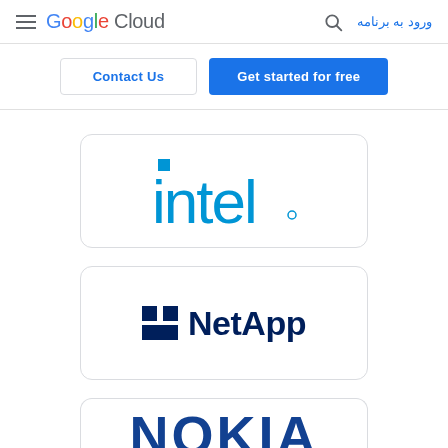Google Cloud — ورود به برنامه
Contact Us | Get started for free
[Figure (logo): Intel logo with cyan/blue text on white rounded card]
[Figure (logo): NetApp logo with black square icon and dark navy text on white rounded card]
[Figure (logo): Nokia logo in dark blue bold text on white rounded card, partially visible]